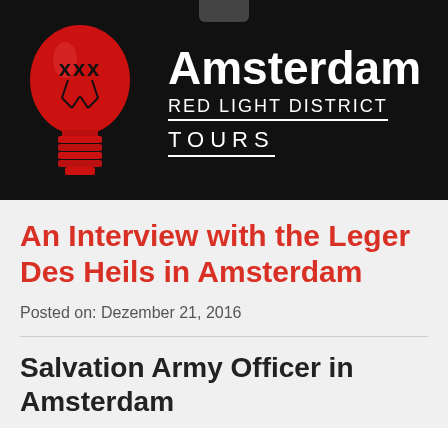[Figure (logo): Amsterdam Red Light District Tours logo: red lightbulb with XXX text on black background, with 'Amsterdam RED LIGHT DISTRICT TOURS' text in white]
An Interview with the Leger Des Heils in Amsterdam
Posted on: Dezember 21, 2016
Salvation Army Officer in Amsterdam